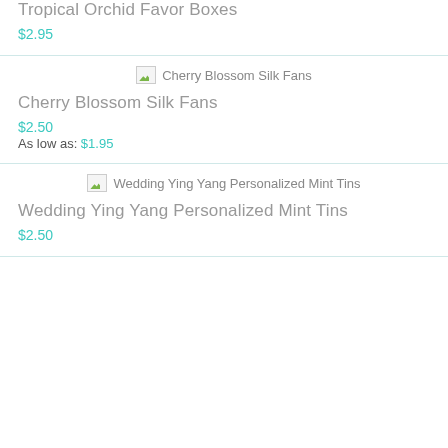Tropical Orchid Favor Boxes
$2.95
[Figure (photo): Broken image placeholder for Cherry Blossom Silk Fans]
Cherry Blossom Silk Fans
$2.50
As low as: $1.95
[Figure (photo): Broken image placeholder for Wedding Ying Yang Personalized Mint Tins]
Wedding Ying Yang Personalized Mint Tins
$2.50